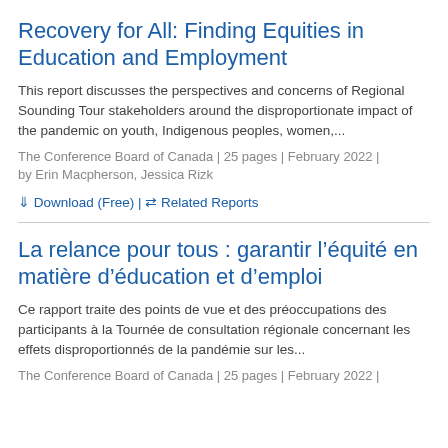Recovery for All: Finding Equities in Education and Employment
This report discusses the perspectives and concerns of Regional Sounding Tour stakeholders around the disproportionate impact of the pandemic on youth, Indigenous peoples, women,...
The Conference Board of Canada | 25 pages | February 2022 | by Erin Macpherson, Jessica Rizk
↓ Download (Free) | ⇌ Related Reports
La relance pour tous : garantir l'équité en matière d'éducation et d'emploi
Ce rapport traite des points de vue et des préoccupations des participants à la Tournée de consultation régionale concernant les effets disproportionnés de la pandémie sur les...
The Conference Board of Canada | 25 pages | February 2022 |